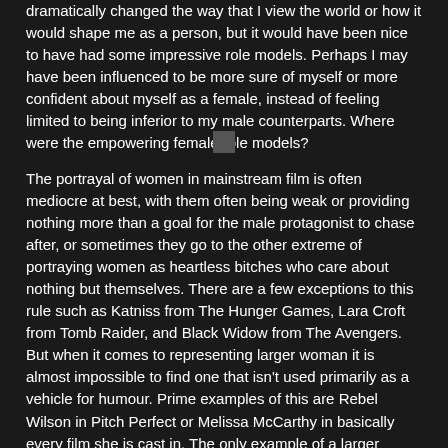dramatically changed the way that I view the world or how it would shape me as a person, but it would have been nice to have had some impressive role models. Perhaps I may have been influenced to be more sure of myself or more confident about myself as a female, instead of feeling limited to being inferior to my male counterparts. Where were the empowering female role models?
[Figure (other): Small dark square decorative divider element]
The portrayal of women in mainstream film is often mediocre at best, with them often being weak or providing nothing more than a goal for the male protagonist to chase after, or sometimes they go to the other extreme of portraying women as heartless bitches who care about nothing but themselves. There are a few exceptions to this rule such as Katniss from The Hunger Games, Lara Croft from Tomb Raider, and Black Widow from The Avengers. But when it comes to representing larger woman it is almost impossible to find one that isn't used primarily as a vehicle for humour. Prime examples of this are Rebel Wilson in Pitch Perfect or Melissa McCarthy in basically every film she is cast in. The only example of a larger woman in film that has any sort of strength and isn't used as a comic device is Gibourey Sibide in Precious where she breaks free of her abusive family.